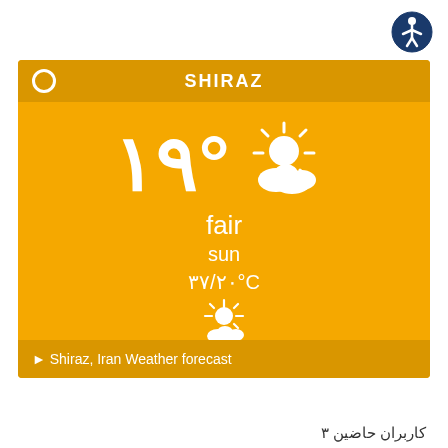[Figure (illustration): Accessibility icon - blue circle with white human figure with arms outstretched]
SHIRAZ
[Figure (illustration): Weather widget showing temperature 19 degrees with partly cloudy/sun icon, condition: fair, day: sun, forecast: 37/20 degrees C with sun behind cloud icon]
fair
sun
۳۷/۲۰°C
► Shiraz, Iran Weather forecast
کاربران حاضین ۳